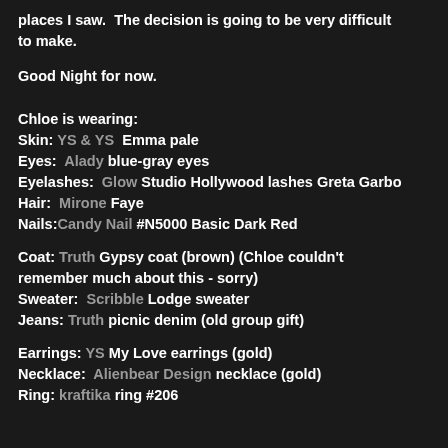places I saw.  The decision is going to be very difficult to make.
Good Night for now.
Chloe is wearing:
Skin: YS & YS  Emma pale
Eyes:  Alady blue-gray eyes
Eyelashes:  Glow Studio Hollywood lashes Greta Garbo
Hair:  Mirone Faye
Nails:Candy Nail #N5000 Basic Dark Red
Coat: Truth Gypsy coat (brown) (Chloe couldn't remember much about this - sorry)
Sweater:  Scribble Lodge sweater
Jeans: Truth picnic denim (old group gift)
Earrings: YS My Love earrings (gold)
Necklace:  Alienbear Design necklace (gold)
Ring: kraftika ring #206